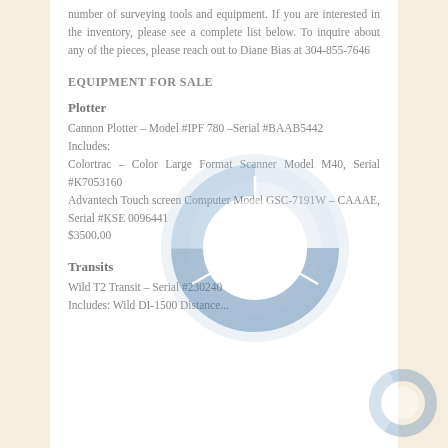number of surveying tools and equipment. If you are interested in the inventory, please see a complete list below. To inquire about any of the pieces, please reach out to Diane Bias at 304-855-7646
EQUIPMENT FOR SALE
Plotter
Cannon Plotter – Model #IPF 780 –Serial #BAAB5442
Includes:
Colortrac – Color Large Format Scanner Model M40, Serial #K7053160
Advantech Touch screen Computer Model GSC-7191W – CAAAE, Serial #KSE 0096441
$3500.00
Transits
Wild T2 Transit – Serial #230240
Includes: Wild DI-1500 Distance...